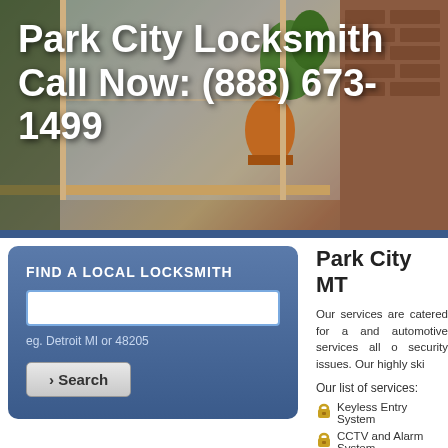Park City Locksmith Call Now: (888) 673-1499
[Figure (photo): Hero banner background with window, plants and brick wall]
FIND A LOCAL LOCKSMITH
eg. Detroit MI or 48205
› Search
Park City MT
Our services are catered for a and automotive services all c security issues. Our highly ski
Our list of services:
Keyless Entry System
CCTV and Alarm System
Lock Picking and Rekeying
Lock Installation, Repair and Replacement
Deadbolt Installation
Intercom System Repair
We understand that safety is goal. You can avail of our s customers. We offer services customers. We offer services